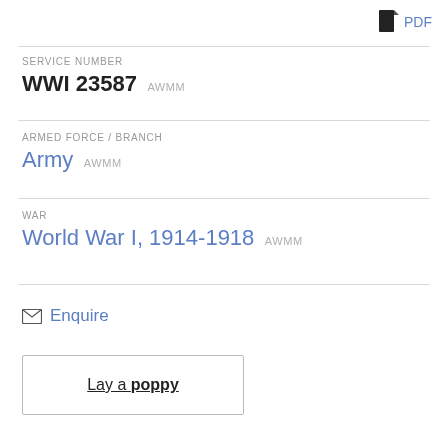PDF
SERVICE NUMBER
WWI 23587 AWMM
ARMED FORCE / BRANCH
Army AWMM
WAR
World War I, 1914-1918 AWMM
✉ Enquire
Lay a poppy